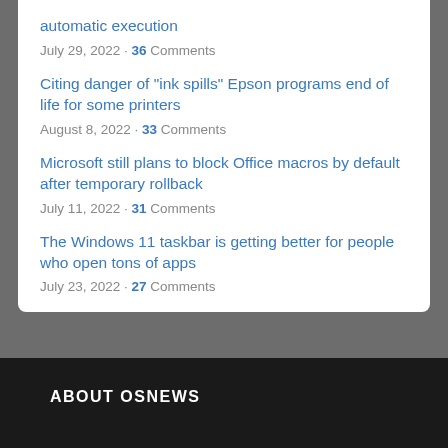automatic execution
July 29, 2022 · 36 Comments
Citing danger of "ink spills" Epson programs end of life for some printers
August 8, 2022 · 33 Comments
Microsoft still plans to block Office macros by default after temporary rollback
July 11, 2022 · 31 Comments
The Windows 11 taskbar is getting better for people who open tons of apps
July 23, 2022 · 27 Comments
ABOUT OSNEWS